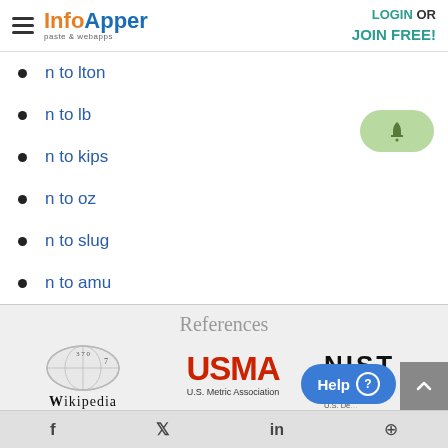InfoApper paste & webapps | LOGIN OR JOIN FREE!
n to lton
n to lb
n to kips
n to oz
n to slug
n to amu
References
[Figure (logo): Wikipedia The Free Encyclopedia logo with globe]
[Figure (logo): USMA U.S. Metric Association logo in red]
[Figure (logo): NIST National Institute of Standards and Technology logo]
f | Twitter | in | Pinterest